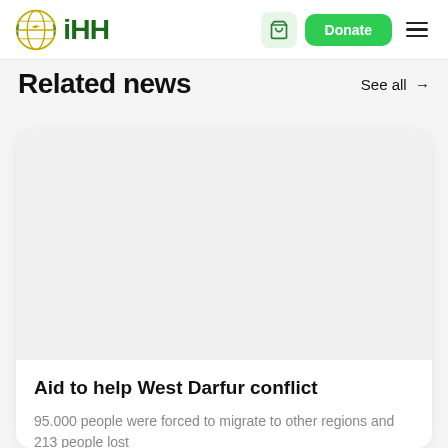iHH - Humanitarian Foundation | Donate
Related news
See all →
[Figure (photo): News card image placeholder (light gray background) for Aid to help West Darfur conflict article]
Aid to help West Darfur conflict
95.000 people were forced to migrate to other regions and 213 people lost